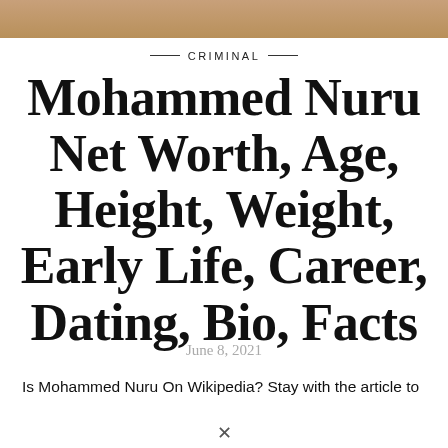[Figure (photo): Top portion of a person's photo, cropped, showing warm skin tones — a strip at the top of the page.]
CRIMINAL
Mohammed Nuru Net Worth, Age, Height, Weight, Early Life, Career, Dating, Bio, Facts
June 8, 2021
Is Mohammed Nuru On Wikipedia? Stay with the article to